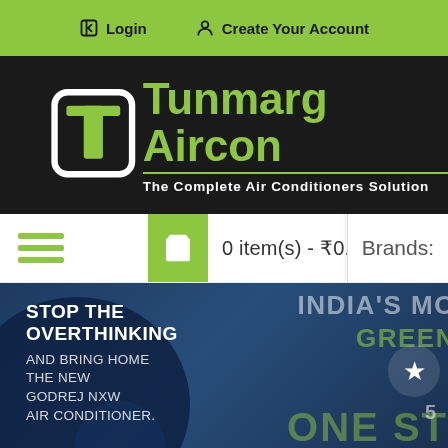Login   Create Your Account
[Figure (logo): Tunmarg Aircon logo with green T icon and tagline 'The Complete Air Conditioners Solution' on dark background]
0 item(s) - ₹0.00
Brands:
[Figure (photo): Banner with dark blue background showing text: STOP THE OVERTHINKING AND BRING HOME THE NEW GODREJ NXW AIR CONDITIONER. Right side shows INDIA'S MO... GREEN... and ONE ST... in large text.]